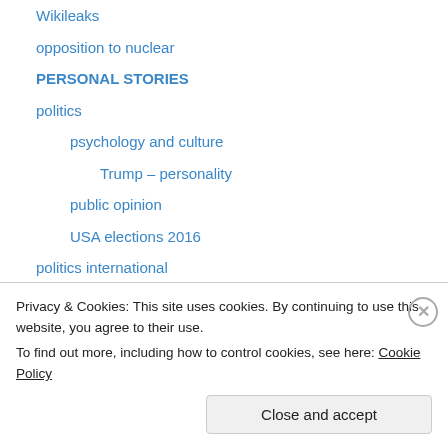Wikileaks
opposition to nuclear
PERSONAL STORIES
politics
psychology and culture
Trump – personality
public opinion
USA elections 2016
politics international
Religion and ethics
safety
incidents
secrets,lies and civil liberties
civil liberties
Privacy & Cookies: This site uses cookies. By continuing to use this website, you agree to their use.
To find out more, including how to control cookies, see here: Cookie Policy